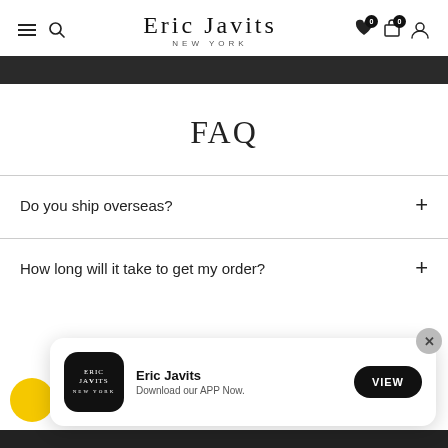Eric Javits New York — navigation header with hamburger, search, wishlist, cart, and account icons
FAQ
Do you ship overseas?
How long will it take to get my order?
[Figure (screenshot): App download banner with Eric Javits logo, 'Eric Javits — Download our APP Now.' text and VIEW button]